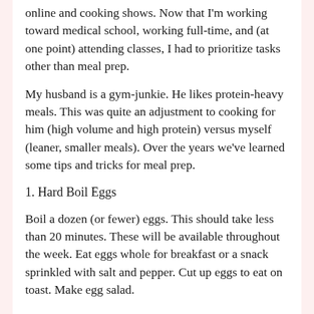online and cooking shows. Now that I'm working toward medical school, working full-time, and (at one point) attending classes, I had to prioritize tasks other than meal prep.
My husband is a gym-junkie. He likes protein-heavy meals. This was quite an adjustment to cooking for him (high volume and high protein) versus myself (leaner, smaller meals). Over the years we've learned some tips and tricks for meal prep.
1. Hard Boil Eggs
Boil a dozen (or fewer) eggs. This should take less than 20 minutes. These will be available throughout the week. Eat eggs whole for breakfast or a snack sprinkled with salt and pepper. Cut up eggs to eat on toast. Make egg salad.